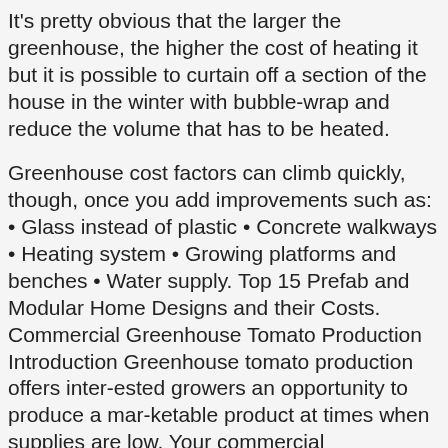It's pretty obvious that the larger the greenhouse, the higher the cost of heating it but it is possible to curtain off a section of the house in the winter with bubble-wrap and reduce the volume that has to be heated.
Greenhouse cost factors can climb quickly, though, once you add improvements such as: • Glass instead of plastic • Concrete walkways • Heating system • Growing platforms and benches • Water supply. Top 15 Prefab and Modular Home Designs and their Costs. Commercial Greenhouse Tomato Production Introduction Greenhouse tomato production offers inter-ested growers an opportunity to produce a mar-ketable product at times when supplies are low. Your commercial greenhouse project is a careful balance. 3. Commercial Greenhouse Kits, Structures and Custom Greenhouse Quotes. Greenhouse tomato production is hard, risky business. Our pricing is based on the size of your company, and gives you room to grow as your hiring needs change. The NGER Wastewater (Domestic